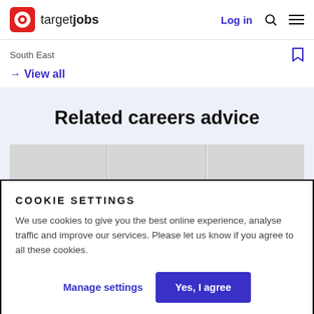targetjobs — Log in
South East
→ View all
Related careers advice
COOKIE SETTINGS
We use cookies to give you the best online experience, analyse traffic and improve our services. Please let us know if you agree to all these cookies.
Manage settings
Yes, I agree